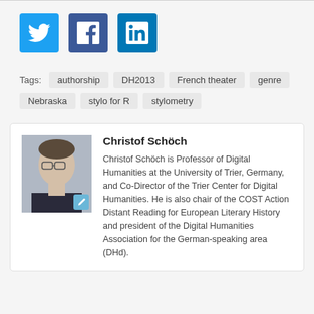[Figure (infographic): Social media share icons: Twitter (blue bird), Facebook (dark blue f), LinkedIn (blue in)]
Tags: authorship DH2013 French theater genre Nebraska stylo for R stylometry
[Figure (photo): Headshot photo of Christof Schöch, a man with glasses wearing a dark shirt]
Christof Schöch
Christof Schöch is Professor of Digital Humanities at the University of Trier, Germany, and Co-Director of the Trier Center for Digital Humanities. He is also chair of the COST Action Distant Reading for European Literary History and president of the Digital Humanities Association for the German-speaking area (DHd).